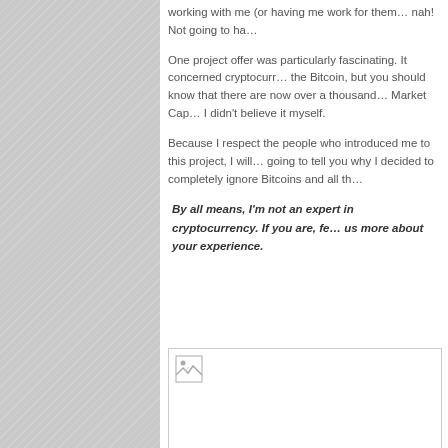working with me (or having me work for them… nah! Not going to ha…
One project offer was particularly fascinating. It concerned cryptocurr… the Bitcoin, but you should know that there are now over a thousand… Market Cap… I didn't believe it myself.
Because I respect the people who introduced me to this project, I will… going to tell you why I decided to completely ignore Bitcoins and all th…
By all means, I'm not an expert in cryptocurrency. If you are, fe… us more about your experience.
[Figure (photo): Broken image placeholder — white rectangle with a small broken image icon in the top-left corner]